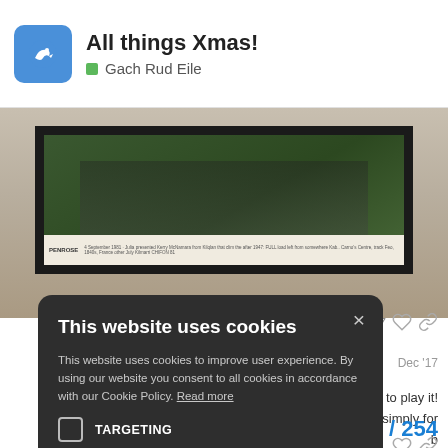All things Xmas! — Gach Rud Eile
[Figure (photo): Framed picture/artwork on a wall, partially visible at top of page]
n't wait to play it! e nes simply for b
7 ♡ 🔗
Dec '17
1 ♡ 🔗
[Figure (screenshot): Cookie consent modal overlay with dark background. Title: This website uses cookies. Body: This website uses cookies to improve user experience. By using our website you consent to all cookies in accordance with our Cookie Policy. Read more. Checkbox for TARGETING. Buttons: ACCEPT ALL, DECLINE ALL. Link: SHOW DETAILS.]
11 / 254